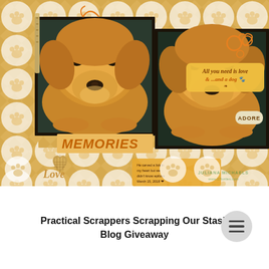[Figure (photo): A scrapbook layout featuring two photos of a golden retriever dog lying down, decorated with paw print and heart circle borders on a warm golden/tan patterned background. Includes 'MEMORIES' banner text, 'All you need is love & ...and a dog' tag, 'ADORE' label, heart ornaments, orange ribbon accents, and a journaling tag. Watermark reads 'JULIANA MICHAELS www.17turtles.com'.]
Practical Scrappers Scrapping Our Stash Blog Giveaway